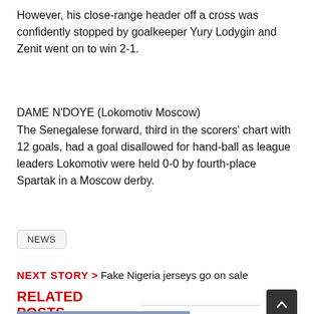However, his close-range header off a cross was confidently stopped by goalkeeper Yury Lodygin and Zenit went on to win 2-1.
DAME N'DOYE (Lokomotiv Moscow)
The Senegalese forward, third in the scorers' chart with 12 goals, had a goal disallowed for hand-ball as league leaders Lokomotiv were held 0-0 by fourth-place Spartak in a Moscow derby.
NEWS
NEXT STORY > Fake Nigeria jerseys go on sale
RELATED POSTS
[Figure (photo): Photo strip of football players at the bottom of the page]